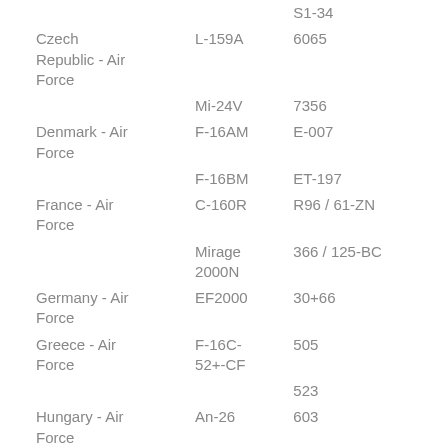| Country/Service | Aircraft | Serial/Code |
| --- | --- | --- |
|  |  | S1-34 |
| Czech Republic - Air Force | L-159A | 6065 |
|  | Mi-24V | 7356 |
| Denmark - Air Force | F-16AM | E-007 |
|  | F-16BM | ET-197 |
| France - Air Force | C-160R | R96 / 61-ZN |
|  | Mirage 2000N | 366 / 125-BC |
| Germany - Air Force | EF2000 | 30+66 |
| Greece - Air Force | F-16C-52+-CF | 505 |
|  |  | 523 |
| Hungary - Air Force | An-26 | 603 |
|  | JAS39C | 38 |
| Netherlands - | F-16A | J-003 |